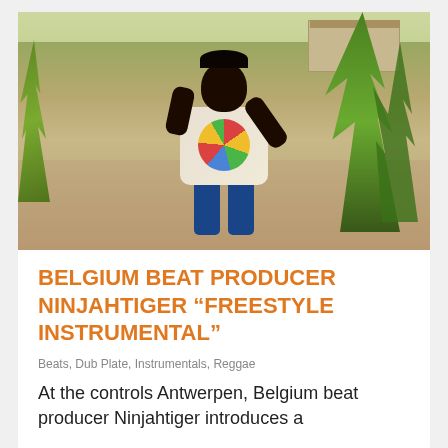[Figure (photo): Outdoor photo of a person standing on a road, wearing a white t-shirt with a colorful circular graphic design, raising one hand. Background shows tropical vegetation, trees, sandy ground, and buildings.]
BELGIUM BEAT PRODUCER NINJAHTIGER “FREESTYLE INSTRUMENTAL”
Beats, Dub Plate, Instrumentals, Reggae
At the controls Antwerpen, Belgium beat producer Ninjahtiger introduces a